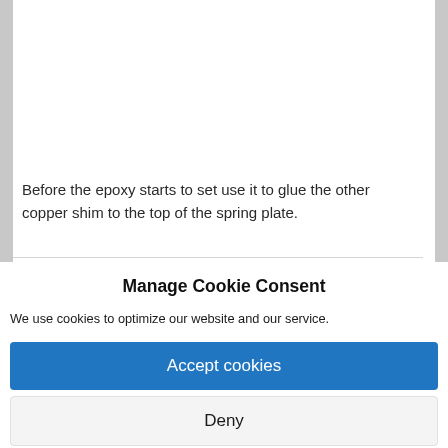Toshiba AC100 CPU-side shim in place on the spring plate
Before the epoxy starts to set use it to glue the other copper shim to the top of the spring plate.
Manage Cookie Consent
We use cookies to optimize our website and our service.
Accept cookies
Deny
View preferences